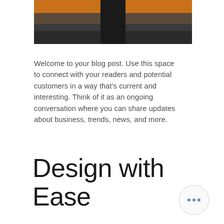[Figure (photo): A person dressed in black standing in an outdoor scene with an orange/terracotta building wall and dark pavement.]
Welcome to your blog post. Use this space to connect with your readers and potential customers in a way that's current and interesting. Think of it as an ongoing conversation where you can share updates about business, trends, news, and more.
Design with Ease